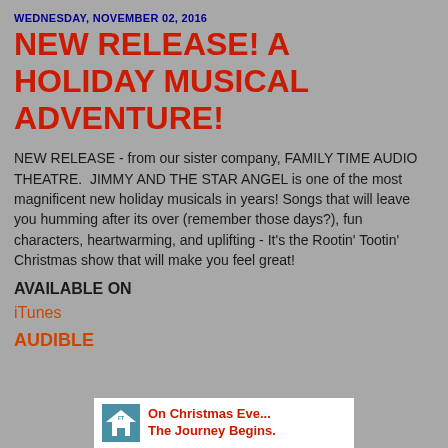WEDNESDAY, NOVEMBER 02, 2016
NEW RELEASE! A HOLIDAY MUSICAL ADVENTURE!
NEW RELEASE - from our sister company, FAMILY TIME AUDIO THEATRE.  JIMMY AND THE STAR ANGEL is one of the most magnificent new holiday musicals in years! Songs that will leave you humming after its over (remember those days?), fun characters, heartwarming, and uplifting - It's the Rootin' Tootin' Christmas show that will make you feel great!
AVAILABLE ON
iTunes
AUDIBLE
[Figure (illustration): Banner image with a house icon and text reading 'On Christmas Eve... The Journey Begins.']